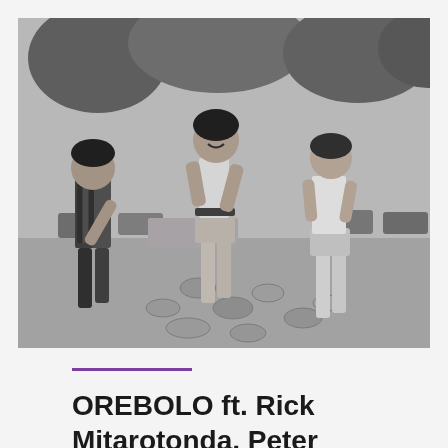[Figure (photo): Black and white photograph of three people walking outdoors in a park-like setting with trees and cars in the background. The person on the left wears a striped/patterned top. The person in the center wears a tank top and shorts and is smiling. The person on the right wears a white t-shirt and shorts. They are walking on a stone-paved path with grass around them.]
OREBOLO ft. Rick Mitarotonda, Peter